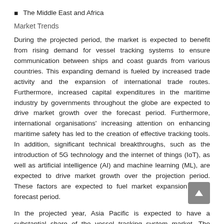The Middle East and Africa
Market Trends
During the projected period, the market is expected to benefit from rising demand for vessel tracking systems to ensure communication between ships and coast guards from various countries. This expanding demand is fueled by increased trade activity and the expansion of international trade routes. Furthermore, increased capital expenditures in the maritime industry by governments throughout the globe are expected to drive market growth over the forecast period. Furthermore, international organisations' increasing attention on enhancing maritime safety has led to the creation of effective tracking tools. In addition, significant technical breakthroughs, such as the introduction of 5G technology and the internet of things (IoT), as well as artificial intelligence (AI) and machine learning (ML), are expected to drive market growth over the projection period. These factors are expected to fuel market expansion in the forecast period.
In the projected year, Asia Pacific is expected to have a substantial share of the vessel tracking system market. The increased presence of major market players in the area, which is pushing higher expenditures in the development of vessel monitoring systems, might be linked to this expansion. Furthermore, governments' constantly rising investments in the